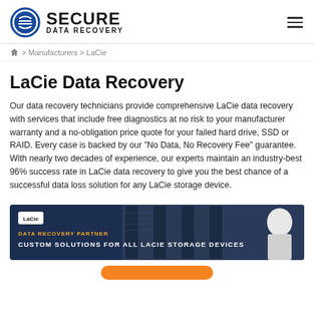SECURE DATA RECOVERY
> Manufacturers > LaCie
LaCie Data Recovery
Our data recovery technicians provide comprehensive LaCie data recovery with services that include free diagnostics at no risk to your manufacturer warranty and a no-obligation price quote for your failed hard drive, SSD or RAID. Every case is backed by our “No Data, No Recovery Fee” guarantee. With nearly two decades of experience, our experts maintain an industry-best 96% success rate in LaCie data recovery to give you the best chance of a successful data loss solution for any LaCie storage device.
[Figure (photo): LaCie Data Recovery Partner banner showing server racks and a person in cleanroom suit with text: DATA RECOVERY PARTNER / CUSTOM SOLUTIONS FOR ALL LACIE STORAGE DEVICES]